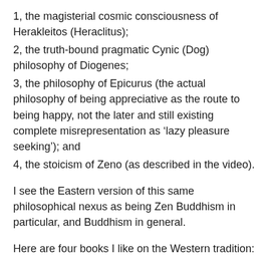1, the magisterial cosmic consciousness of Herakleitos (Heraclitus);
2, the truth-bound pragmatic Cynic (Dog) philosophy of Diogenes;
3, the philosophy of Epicurus (the actual philosophy of being appreciative as the route to being happy, not the later and still existing complete misrepresentation as ‘lazy pleasure seeking’); and
4, the stoicism of Zeno (as described in the video).
I see the Eastern version of this same philosophical nexus as being Zen Buddhism in particular, and Buddhism in general.
Here are four books I like on the Western tradition:
1. Herakleitos And Diogenes, translated from the Greek by Guy Davenport (1976–1979). Two Poems.